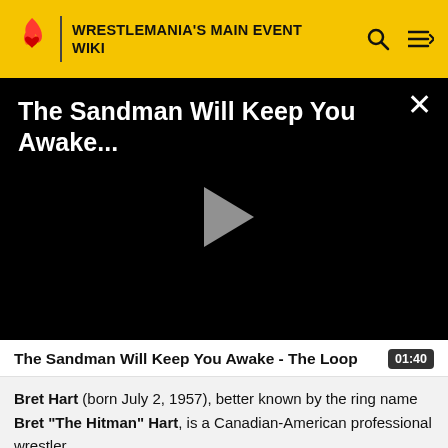WRESTLEMANIA'S MAIN EVENT WIKI
[Figure (screenshot): Video player with black background showing title 'The Sandman Will Keep You Awake...' with a grey play button in the center and a close (X) button in the top right]
The Sandman Will Keep You Awake - The Loop  01:40
Bret Hart (born July 2, 1957), better known by the ring name Bret "The Hitman" Hart, is a Canadian-American professional wrestler.